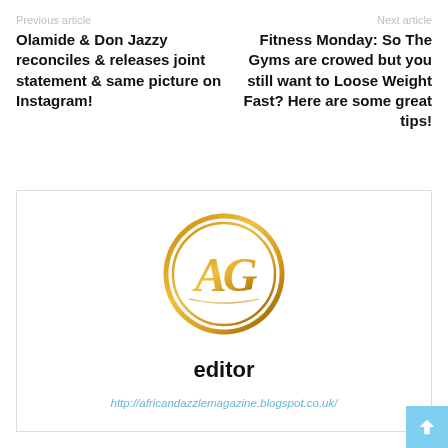Previous article
Next article
Olamide & Don Jazzy reconciles & releases joint statement & same picture on Instagram!
Fitness Monday: So The Gyms are crowed but you still want to Loose Weight Fast? Here are some great tips!
[Figure (logo): Circular gold logo with stylized 'AG' initials in cursive]
editor
http://africandazzlemagazine.blogspot.co.uk/